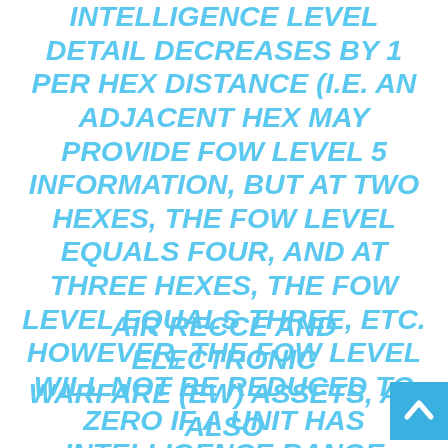INTELLIGENCE LEVEL DETAIL DECREASES BY 1 PER HEX DISTANCE (I.E. AN ADJACENT HEX MAY PROVIDE FOW LEVEL 5 INFORMATION, BUT AT TWO HEXES, THE FOW LEVEL EQUALS FOUR, AND AT THREE HEXES, THE FOW LEVEL EQUALS THREE, ETC. HOWEVER, THE FOW LEVEL WILL NOT BE REDUCED TO ZERO IF A UNIT HAS INTELLIGENCE RANGE REMAINING; I.E.  THE FOW LEVEL WILL BE ONE.
AIR RECCE AND ELECTRONIC WARFARE (EW) ASSETS, AS ALSO...